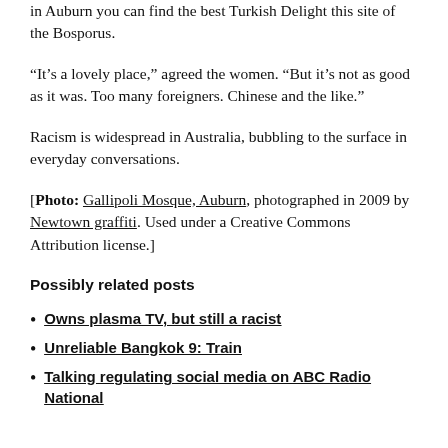in Auburn you can find the best Turkish Delight this site of the Bosporus.
“It’s a lovely place,” agreed the women. “But it’s not as good as it was. Too many foreigners. Chinese and the like.”
Racism is widespread in Australia, bubbling to the surface in everyday conversations.
[Photo: Gallipoli Mosque, Auburn, photographed in 2009 by Newtown graffiti. Used under a Creative Commons Attribution license.]
Possibly related posts
Owns plasma TV, but still a racist
Unreliable Bangkok 9: Train
Talking regulating social media on ABC Radio National